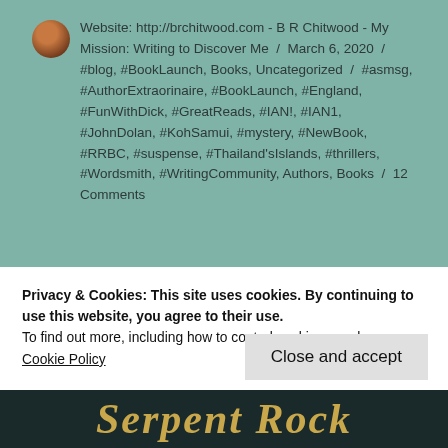Website: http://brchitwood.com - B R Chitwood - My Mission: Writing to Discover Me / March 6, 2020 / #blog, #BookLaunch, Books, Uncategorized / #asmsg, #AuthorExtraorinaire, #BookLaunch, #England, #FunWithDick, #GreatReads, #IAN!, #IAN1, #JohnDolan, #KohSamui, #mystery, #NewBook, #RRBC, #suspense, #Thailand'sIslands, #thrillers, #Wordsmith, #WritingCommunity, Authors, Books / 12 Comments
Welcome to – “Serpent Rock”
Privacy & Cookies: This site uses cookies. By continuing to use this website, you agree to their use.
To find out more, including how to control cookies, see here:
Cookie Policy
Close and accept
[Figure (photo): Decorative book title text 'Serpent Rock' in ornate golden italic script on dark background]